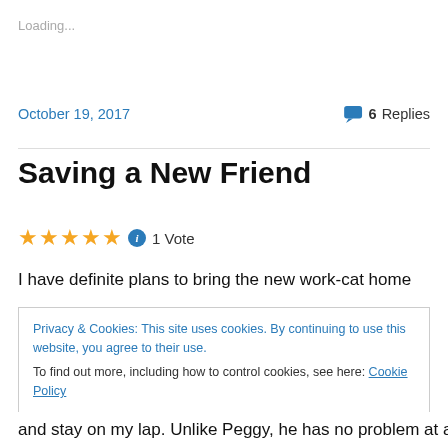Loading...
October 19, 2017
6 Replies
Saving a New Friend
★★★★★ ℹ 1 Vote
I have definite plans to bring the new work-cat home
Privacy & Cookies: This site uses cookies. By continuing to use this website, you agree to their use.
To find out more, including how to control cookies, see here: Cookie Policy
Close and accept
and stay on my lap. Unlike Peggy, he has no problem at all